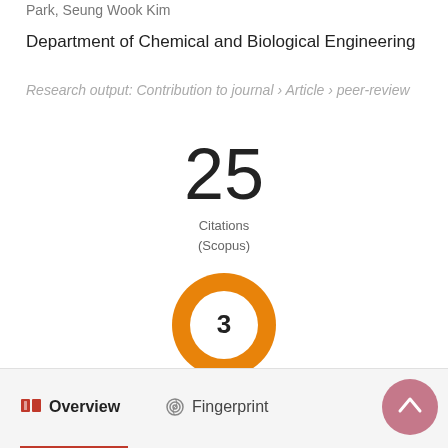Park, Seung Wook Kim
Department of Chemical and Biological Engineering
Research output: Contribution to journal › Article › peer-review
[Figure (infographic): Large number '25' with label 'Citations (Scopus)' below it]
[Figure (donut-chart): Orange donut/ring with number 3 in the center]
Overview   Fingerprint